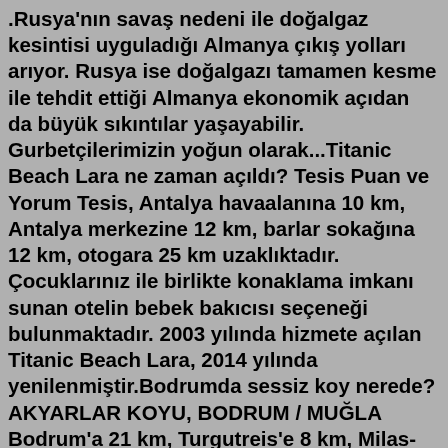.Rusya'nın savaş nedeni ile doğalgaz kesintisi uyguladığı Almanya çıkış yolları arıyor. Rusya ise doğalgazı tamamen kesme ile tehdit ettiği Almanya ekonomik açıdan da büyük sıkıntılar yaşayabilir. Gurbetçilerimizin yoğun olarak...Titanic Beach Lara ne zaman açıldı? Tesis Puan ve Yorum Tesis, Antalya havaalanına 10 km, Antalya merkezine 12 km, barlar sokağına 12 km, otogara 25 km uzaklıktadır. Çocuklarınız ile birlikte konaklama imkanı sunan otelin bebek bakıcısı seçeneği bulunmaktadır. 2003 yılında hizmete açılan Titanic Beach Lara, 2014 yılında yenilenmiştir.Bodrumda sessiz koy nerede? AKYARLAR KOYU, BODRUM / MUĞLA Bodrum'a 21 km, Turgutreis'e 8 km, Milas-Bodrum Havalimanı'na 58 km uzaklıkta yer alıyor.. ... Bodrum'da hangi koylara gidilir? Bodrum en güzel koylar nedeniyle Türkiye'de en çok tercih edilen tatil beldelerinden birisi....Bodrum'da Az Bilinen 9 Şahane Koy. 1 - Iassos. …üniversite okunacak en güzel şehirler, Kesinlikle Kocaeli ve istanbul ... detaylı ara yazgeç giriş kaydol, giriş yap...siyasi görüşünüzü